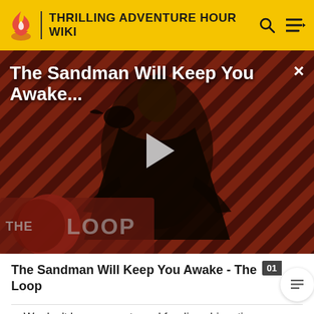THRILLING ADVENTURE HOUR WIKI
[Figure (screenshot): Video thumbnail for 'The Sandman Will Keep You Awake...' showing a dark-cloaked figure against a red diagonal striped background, with a play button and THE LOOP logo overlay]
The Sandman Will Keep You Awake - The Loop
We don't have a great need for disambiguation pages on this wiki, but if there are multiple articles that